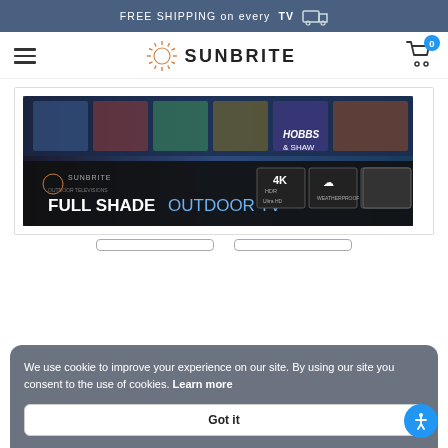FREE SHIPPING on everyTV
[Figure (logo): Sunbrite logo with sunburst icon and text SUNBRITE, hamburger menu on left, cart icon with 0 badge on right]
[Figure (photo): SunBrite Full Shade Outdoor TV product image showing a TV with 4K Ultra HD, weatherproof, Quantum Dot, 1000 nit badges]
We use cookie to improve your experience on our site. By using our site you consent to the use of cookies. Learn more
Got it